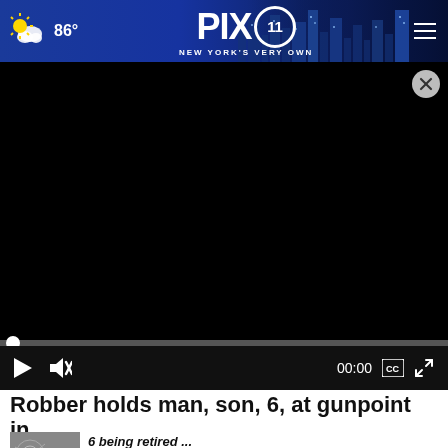86° PIX 11 NEW YORK'S VERY OWN
[Figure (screenshot): Black video player area with close (X) button in top right, progress bar, play button, mute button, timestamp 00:00, CC button, and fullscreen button]
Robber holds man, son, 6, at gunpoint in...
[Figure (photo): Black and white thumbnail image for related article]
6 being retired ...
News / 1 week ago